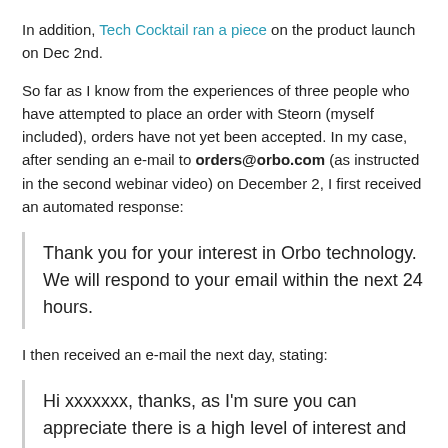In addition, Tech Cocktail ran a piece on the product launch on Dec 2nd.
So far as I know from the experiences of three people who have attempted to place an order with Steorn (myself included), orders have not yet been accepted. In my case, after sending an e-mail to orders@orbo.com (as instructed in the second webinar video) on December 2, I first received an automated response:
Thank you for your interest in Orbo technology. We will respond to your email within the next 24 hours.
I then received an e-mail the next day, stating:
Hi xxxxxxx, thanks, as I'm sure you can appreciate there is a high level of interest and we are working our way through everyone. Could you please let us know your shipping address and we will revert